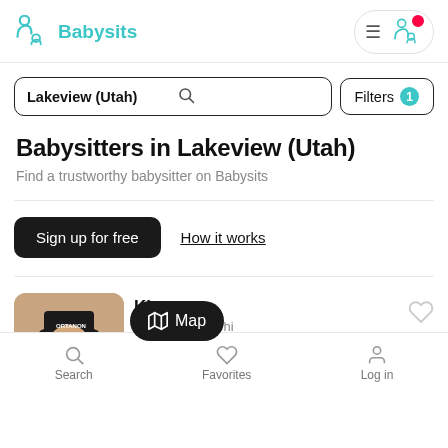[Figure (logo): Babysits logo with teal baby/person icon and teal text 'Babysits']
Lakeview (Utah)
Filters 1
Babysitters in Lakeview (Utah)
Find a trustworthy babysitter on Babysits
Sign up for free
How it works
Kle...
Babysitter in Lehi
Map
Search
Favorites
Log in